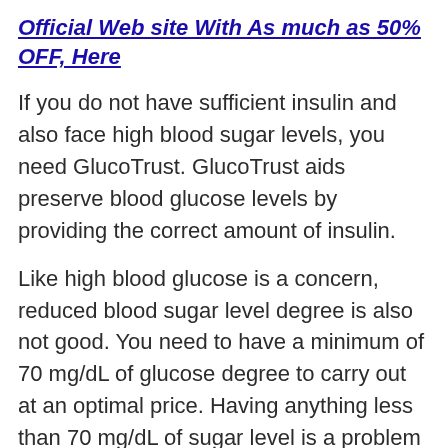Official Web site With As much as 50% OFF, Here
If you do not have sufficient insulin and also face high blood sugar levels, you need GlucoTrust. GlucoTrust aids preserve blood glucose levels by providing the correct amount of insulin.
Like high blood glucose is a concern, reduced blood sugar level degree is also not good. You need to have a minimum of 70 mg/dL of glucose degree to carry out at an optimal price. Having anything less than 70 mg/dL of sugar level is a problem known as hypoglycemia. In a similar way, a glucose level of 200mg/dL 2 hours after eating is also hypoglycemia Glucotrust Knoxville Tennessee. Regardless, there is something